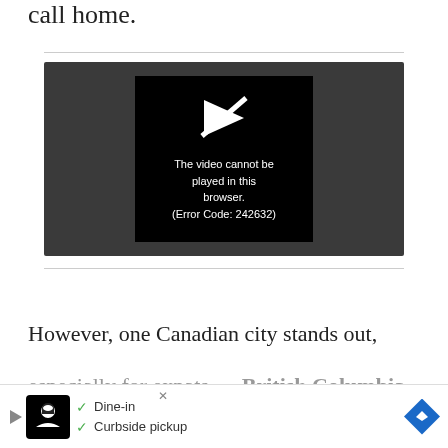call home.
[Figure (screenshot): Video player showing error message: 'The video cannot be played in this browser. (Error Code: 242632)']
However, one Canadian city stands out,
especially for expats — British Columbia and its
stun... at
[Figure (other): Advertisement banner with Dine-in and Curbside pickup options]